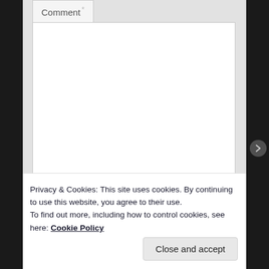[Figure (screenshot): Web form showing a Comment field label with asterisk, a large white textarea input box with resize handle, and a Name field label with red asterisk followed by a text input area, all on a light grey background.]
Privacy & Cookies: This site uses cookies. By continuing to use this website, you agree to their use.
To find out more, including how to control cookies, see here: Cookie Policy
Close and accept